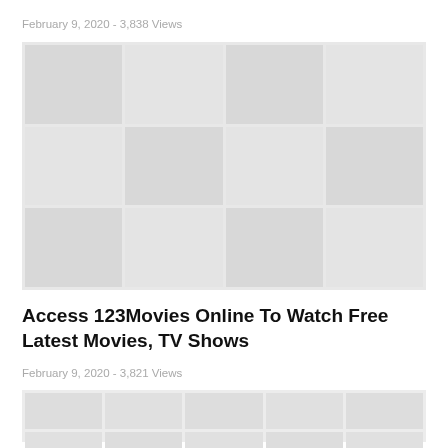February 9, 2020 - 3,838 Views
[Figure (photo): Blurred/faded image grid showing movie thumbnails, top section]
Access 123Movies Online To Watch Free Latest Movies, TV Shows
February 9, 2020 - 3,821 Views
[Figure (photo): Blurred/faded image grid showing movie thumbnails, bottom section]